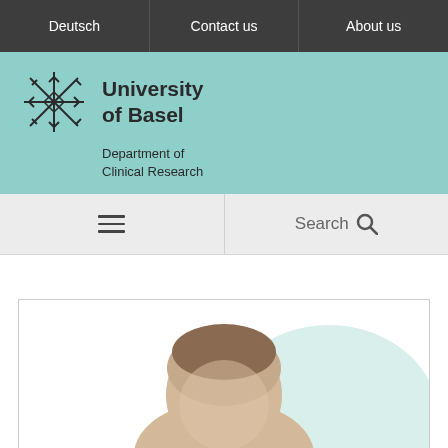Deutsch | Contact us | About us
[Figure (logo): University of Basel logo with snowflake-like emblem and text 'University of Basel, Department of Clinical Research']
[Figure (screenshot): Navigation bar with hamburger menu icon on left and Search with magnifying glass icon on right]
[Figure (photo): Profile photo of a person (partially visible), showing head and shoulders with a light teal/mint circular background shape]